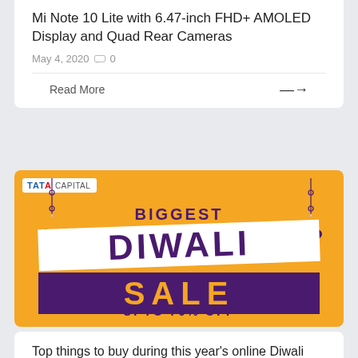Mi Note 10 Lite with 6.47-inch FHD+ AMOLED Display and Quad Rear Cameras
May 4, 2020  0
Read More →
[Figure (illustration): Tata Capital advertisement banner with orange background showing 'BIGGEST DIWALI SALE UPTO 70% OFF' text with decorative diya lamps]
Top things to buy during this year's online Diwali sale